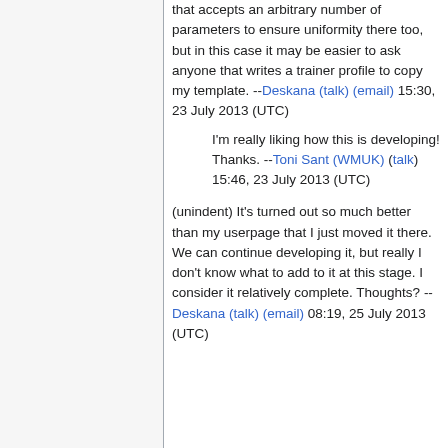that accepts an arbitrary number of parameters to ensure uniformity there too, but in this case it may be easier to ask anyone that writes a trainer profile to copy my template. --Deskana (talk) (email) 15:30, 23 July 2013 (UTC)
I'm really liking how this is developing! Thanks. --Toni Sant (WMUK) (talk) 15:46, 23 July 2013 (UTC)
(unindent) It's turned out so much better than my userpage that I just moved it there. We can continue developing it, but really I don't know what to add to it at this stage. I consider it relatively complete. Thoughts? --Deskana (talk) (email) 08:19, 25 July 2013 (UTC)